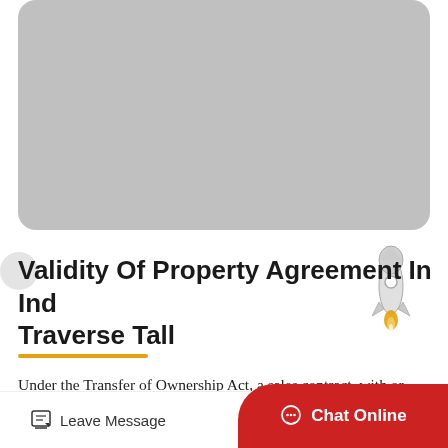[Figure (photo): Gray placeholder image area with rounded corners at the top of the page]
Validity Of Property Agreement In India Traverse Tall
Under the Transfer of Ownership Act, a sales contract, with or without property, is nottransportation. Section 54 of the Transfer